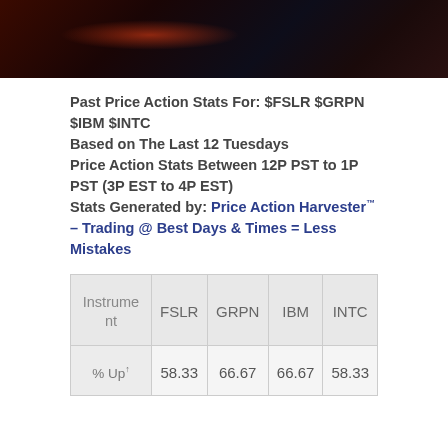[Figure (photo): Dark header image with red/orange light streaks and dark background]
Past Price Action Stats For: $FSLR $GRPN $IBM $INTC
Based on The Last 12 Tuesdays
Price Action Stats Between 12P PST to 1P PST (3P EST to 4P EST)
Stats Generated by: Price Action Harvester™ – Trading @ Best Days & Times = Less Mistakes
| Instrument | FSLR | GRPN | IBM | INTC |
| --- | --- | --- | --- | --- |
| % Up↑ | 58.33 | 66.67 | 66.67 | 58.33 |